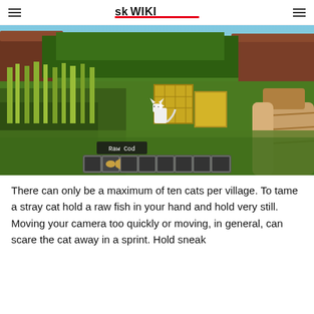SK WIKI (logo)
[Figure (screenshot): Minecraft gameplay screenshot showing a white cat (stray) standing on grass near hay bale blocks and tall grass, with wooden buildings in the background. The player is holding Raw Cod as shown in the hotbar at the bottom with the item tooltip 'Raw Cod' displayed above the inventory bar.]
There can only be a maximum of ten cats per village. To tame a stray cat hold a raw fish in your hand and hold very still. Moving your camera too quickly or moving, in general, can scare the cat away in a sprint. Hold sneak